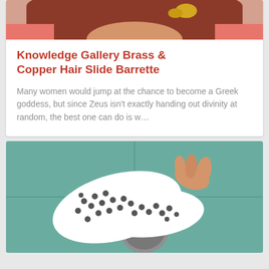[Figure (photo): Top portion of a woman with red/auburn hair and a yellow hair accessory, wearing a pink top]
Knowledge Gallery Brass & Copper Hair Slide Barrette
Many women would jump at the chance to become a Greek goddess, but since Zeus isn't exactly handing out divinity at random, the best one can do is w…
[Figure (photo): A white plastic hair clip/barrette with holes, being pulled off a shower drain on a teal/green tiled surface]